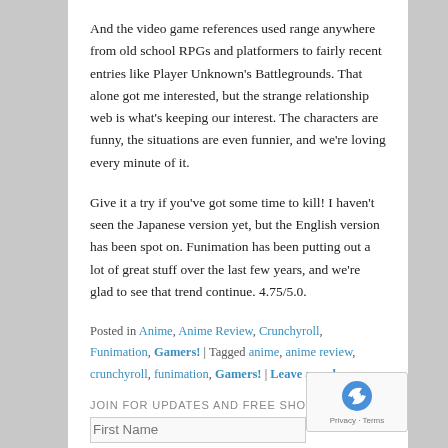And the video game references used range anywhere from old school RPGs and platformers to fairly recent entries like Player Unknown's Battlegrounds. That alone got me interested, but the strange relationship web is what's keeping our interest. The characters are funny, the situations are even funnier, and we're loving every minute of it.
Give it a try if you've got some time to kill! I haven't seen the Japanese version yet, but the English version has been spot on. Funimation has been putting out a lot of great stuff over the last few years, and we're glad to see that trend continue. 4.75/5.0.
Posted in Anime, Anime Review, Crunchyroll, Funimation, Gamers! | Tagged anime, anime review, crunchyroll, funimation, Gamers! | Leave a reply
JOIN FOR UPDATES AND FREE SHORT STORIES!